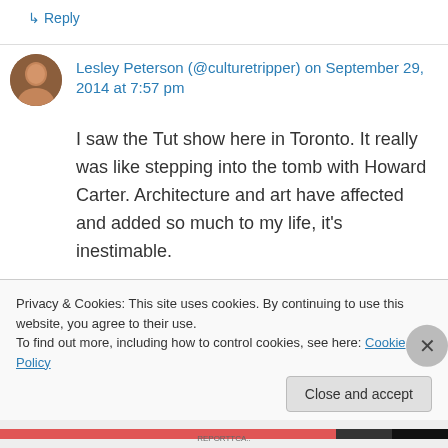↳ Reply
Lesley Peterson (@culturetripper) on September 29, 2014 at 7:57 pm
I saw the Tut show here in Toronto. It really was like stepping into the tomb with Howard Carter. Architecture and art have affected and added so much to my life, it's inestimable.
★ Like
↳ Reply
Privacy & Cookies: This site uses cookies. By continuing to use this website, you agree to their use.
To find out more, including how to control cookies, see here: Cookie Policy
Close and accept